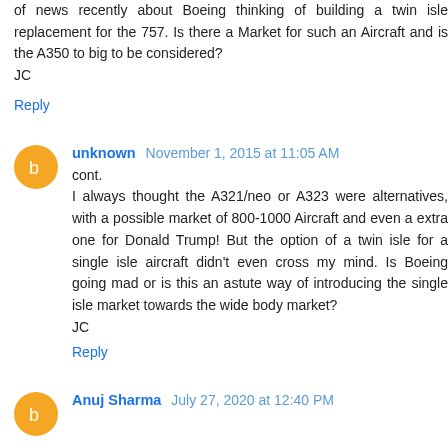of news recently about Boeing thinking of building a twin isle replacement for the 757. Is there a Market for such an Aircraft and is the A350 to big to be considered?
JC
Reply
unknown  November 1, 2015 at 11:05 AM
cont.
I always thought the A321/neo or A323 were alternatives, with a possible market of 800-1000 Aircraft and even a extra one for Donald Trump! But the option of a twin isle for a single isle aircraft didn't even cross my mind. Is Boeing going mad or is this an astute way of introducing the single isle market towards the wide body market?
JC
Reply
Anuj Sharma  July 27, 2020 at 12:40 PM